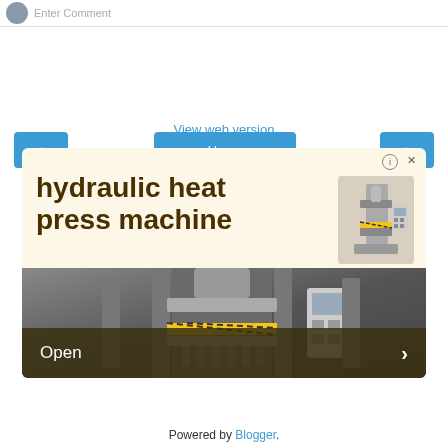Enter Comment
[Figure (other): Navigation bar with previous arrow button, Home button, and next arrow button, all in blue]
View web version
[Figure (other): Advertisement for hydraulic heat press machine with beige background, bold dark text reading 'hydraulic heat press machine', small product image on right, info and close icons, and an Open button bar with arrow at bottom showing a photo of the machine]
Powered by Blogger.